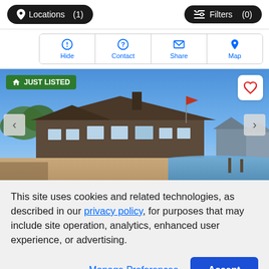Locations (1)   Filters (0)
Hide  Contact  Share  Map
[Figure (photo): Beachfront house with shingled roof on a sandy beach under clear blue sky, with a dock and waterfront community visible in the background. Badge reads JUST LISTED.]
This site uses cookies and related technologies, as described in our privacy policy, for purposes that may include site operation, analytics, enhanced user experience, or advertising.
Manage Preferences   Accept